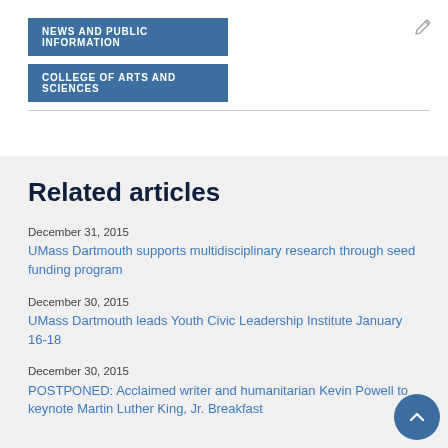NEWS AND PUBLIC INFORMATION
COLLEGE OF ARTS AND SCIENCES
Related articles
December 31, 2015
UMass Dartmouth supports multidisciplinary research through seed funding program
December 30, 2015
UMass Dartmouth leads Youth Civic Leadership Institute January 16-18
December 30, 2015
POSTPONED: Acclaimed writer and humanitarian Kevin Powell to keynote Martin Luther King, Jr. Breakfast